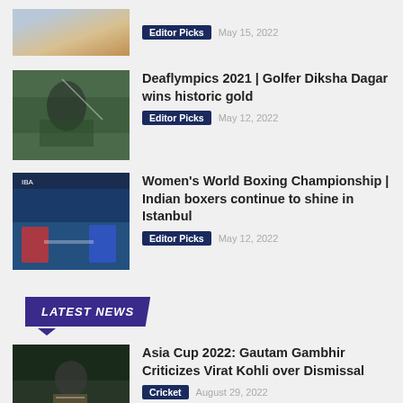[Figure (photo): Partial cricket player batting photo at top of page]
Editor Picks   May 15, 2022
[Figure (photo): Golfer swinging club, green background]
Deaflympics 2021 | Golfer Diksha Dagar wins historic gold
Editor Picks   May 12, 2022
[Figure (photo): Women's boxing match in ring, Istanbul championship]
Women's World Boxing Championship | Indian boxers continue to shine in Istanbul
Editor Picks   May 12, 2022
LATEST NEWS
[Figure (photo): Cricket player Virat Kohli on field at night match]
Asia Cup 2022: Gautam Gambhir Criticizes Virat Kohli over Dismissal
Cricket   August 29, 2022